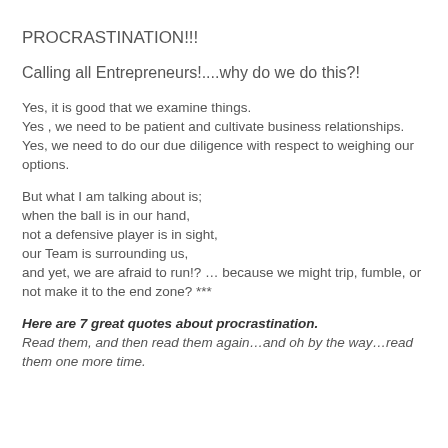PROCRASTINATION!!!
Calling all Entrepreneurs!....why do we do this?!
Yes, it is good that we examine things.
Yes , we need to be patient and cultivate business relationships.
Yes, we need to do our due diligence with respect to weighing our options.
But what I am talking about is;
when the ball is in our hand,
not a defensive player is in sight,
our Team is surrounding us,
and yet, we are afraid to run!? … because we might trip, fumble, or not make it to the end zone? ***
Here are 7 great quotes about procrastination.
Read them, and then read them again…and oh by the way…read them one more time.